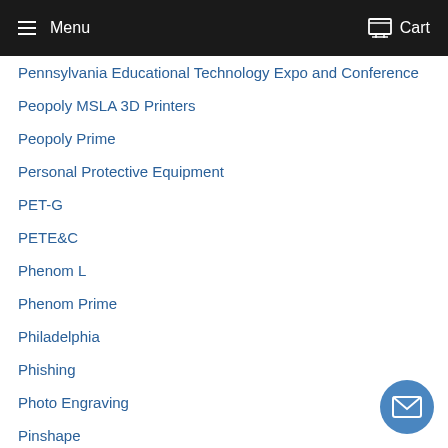Menu  Cart
Pennsylvania Educational Technology Expo and Conference
Peopoly MSLA 3D Printers
Peopoly Prime
Personal Protective Equipment
PET-G
PETE&C
Phenom L
Phenom Prime
Philadelphia
Phishing
Photo Engraving
Pinshape
Pinterest
Pittsburgh
PLA